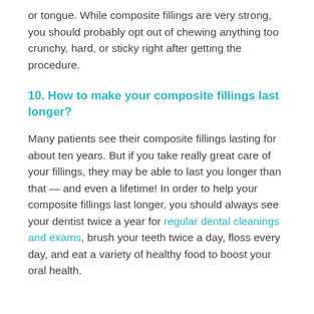or tongue. While composite fillings are very strong, you should probably opt out of chewing anything too crunchy, hard, or sticky right after getting the procedure.
10. How to make your composite fillings last longer?
Many patients see their composite fillings lasting for about ten years. But if you take really great care of your fillings, they may be able to last you longer than that — and even a lifetime! In order to help your composite fillings last longer, you should always see your dentist twice a year for regular dental cleanings and exams, brush your teeth twice a day, floss every day, and eat a variety of healthy food to boost your oral health.